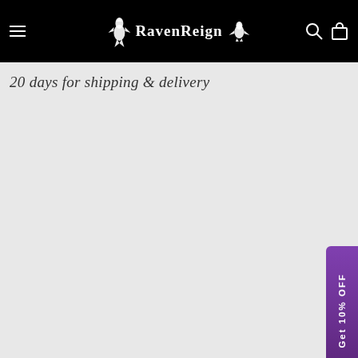RavenReign
20 days for shipping & delivery
[Figure (other): Purple promotional tab on the right side reading 'Get 10% OFF' vertically]